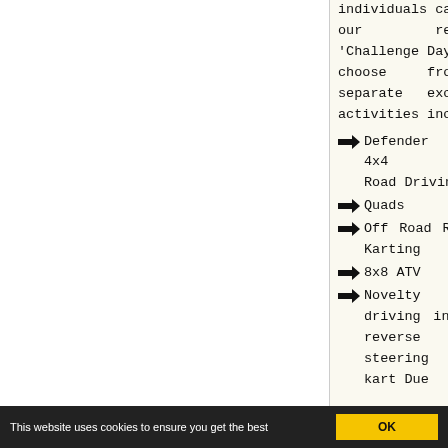individuals can join our regular 'Challenge Days' and choose from 5 separate exciting activities including:
Defender 4x4 Off Road Driving
Quads
Off Road Rally Karting
8x8 ATV
Novelty driving in a reverse steering kart Due
Designed to get you quickly and safely to grips with the techniques and challenges of DEFENDER 4x4 OFF ROAD DRIVING.
Learn to handle mud, rough terrain,
This website uses cookies to ensure you get the best